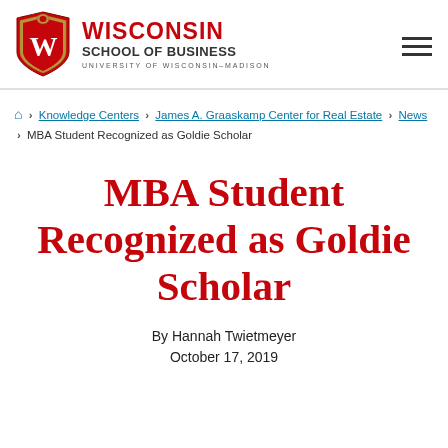Wisconsin School of Business — University of Wisconsin–Madison
Home > Knowledge Centers > James A. Graaskamp Center for Real Estate > News > MBA Student Recognized as Goldie Scholar
MBA Student Recognized as Goldie Scholar
By Hannah Twietmeyer
October 17, 2019